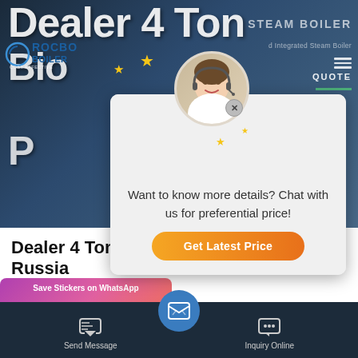[Figure (screenshot): Website hero section showing 'Dealer 4 Ton Biomass Boiler Plant Russia' with a chat popup overlay featuring a customer service agent photo, stars, message 'Want to know more details? Chat with us for preferential price!', and a 'Get Latest Price' orange button. Background shows Rocbo Boiler logo and industrial boiler imagery.]
Dealer 4 Ton Biomass Boiler Plant Russia
[Figure (screenshot): Website footer bar with 'Save Stickers on WhatsApp' pink/purple strip on left, dark navy footer with Send Message icon on left, blue circular email icon in center, and Inquiry Online icon on right.]